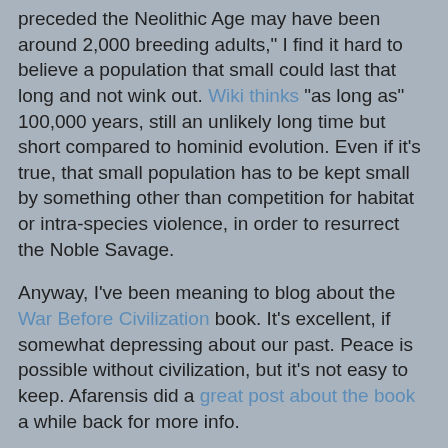preceded the Neolithic Age may have been around 2,000 breeding adults," I find it hard to believe a population that small could last that long and not wink out. Wiki thinks "as long as" 100,000 years, still an unlikely long time but short compared to hominid evolution. Even if it's true, that small population has to be kept small by something other than competition for habitat or intra-species violence, in order to resurrect the Noble Savage.
Anyway, I've been meaning to blog about the War Before Civilization book. It's excellent, if somewhat depressing about our past. Peace is possible without civilization, but it's not easy to keep. Afarensis did a great post about the book a while back for more info.
(And yes, this post falls into the "I read a book and now think I know more than an expert in the field" category. Oh well.)
UPDATE, Jan 2010: more evidence in support of Hrdy's position and against mine, this time that hominids had incredibly small populations dating back 1.2 million years. They also claim that chimps and gorillas had similarly-small populations despite the radically different habitats that they